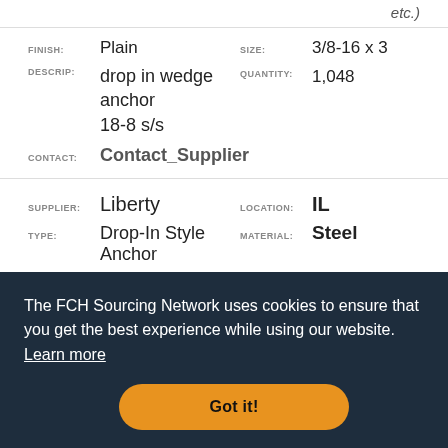etc.)
FINISH: Plain   SIZE: 3/8-16 x 3
DESCRIP: drop in wedge anchor 18-8 s/s   QUANTITY: 1,048
CONTACT: Contact_Supplier
SUPPLIER: Liberty   LOCATION: IL
TYPE: Drop-In Style Anchor   MATERIAL: Steel
FINISH: Zinc/Clear   SIZE: 5/8-11 x 4
The FCH Sourcing Network uses cookies to ensure that you get the best experience while using our website. Learn more
Got it!